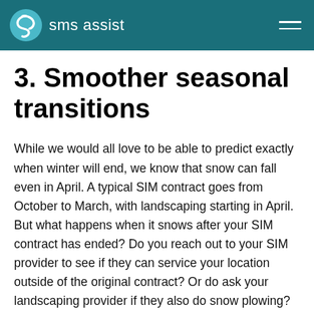sms assist
3. Smoother seasonal transitions
While we would all love to be able to predict exactly when winter will end, we know that snow can fall even in April. A typical SIM contract goes from October to March, with landscaping starting in April. But what happens when it snows after your SIM contract has ended? Do you reach out to your SIM provider to see if they can service your location outside of the original contract? Or do ask your landscaping provider if they also do snow plowing? Those transitional situations—which aren't all that uncommon—would be a lot easier to navigate if your SIM provider was